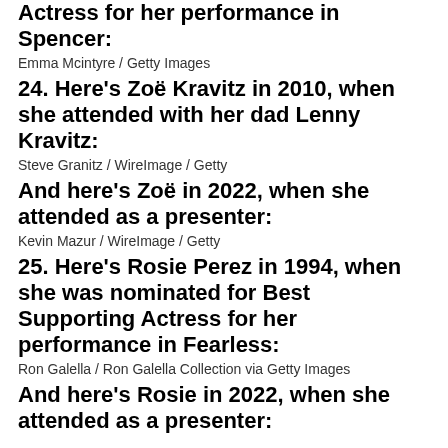Actress for her performance in Spencer:
Emma Mcintyre / Getty Images
24. Here's Zoë Kravitz in 2010, when she attended with her dad Lenny Kravitz:
Steve Granitz / WireImage / Getty
And here's Zoë in 2022, when she attended as a presenter:
Kevin Mazur / WireImage / Getty
25. Here's Rosie Perez in 1994, when she was nominated for Best Supporting Actress for her performance in Fearless:
Ron Galella / Ron Galella Collection via Getty Images
And here's Rosie in 2022, when she attended as a presenter: